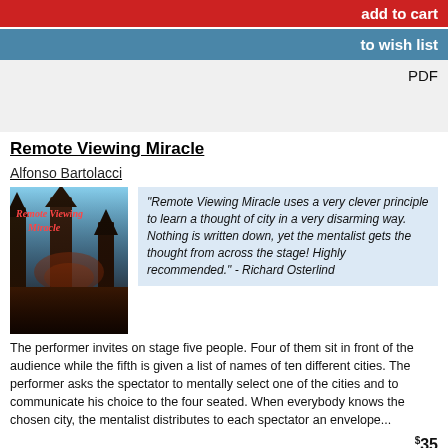add to cart
to wish list
PDF
Remote Viewing Miracle
Alfonso Bartolacci
[Figure (illustration): Book cover for Remote Viewing Miracle with dark fantasy illustration]
"Remote Viewing Miracle uses a very clever principle to learn a thought of city in a very disarming way. Nothing is written down, yet the mentalist gets the thought from across the stage! Highly recommended." - Richard Osterlind
The performer invites on stage five people. Four of them sit in front of the audience while the fifth is given a list of names of ten different cities. The performer asks the spectator to mentally select one of the cities and to communicate his choice to the four seated. When everybody knows the chosen city, the mentalist distributes to each spectator an envelope...
$35